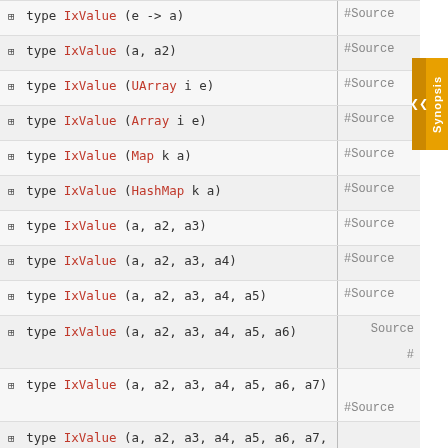⊞ type IxValue (e -> a) | # Source
⊞ type IxValue (a, a2) | # Source
⊞ type IxValue (UArray i e) | # Source
⊞ type IxValue (Array i e) | # Source
⊞ type IxValue (Map k a) | # Source
⊞ type IxValue (HashMap k a) | # Source
⊞ type IxValue (a, a2, a3) | # Source
⊞ type IxValue (a, a2, a3, a4) | # Source
⊞ type IxValue (a, a2, a3, a4, a5) | # Source
⊞ type IxValue (a, a2, a3, a4, a5, a6) Source | #
⊞ type IxValue (a, a2, a3, a4, a5, a6, a7) | # Source
⊞ type IxValue (a, a2, a3, a4, a5, a6, a7, a8) | # Source
⊞ type IxValue (a, a2, a3, a4, a5, a6, a7, a8, a9) | # Source